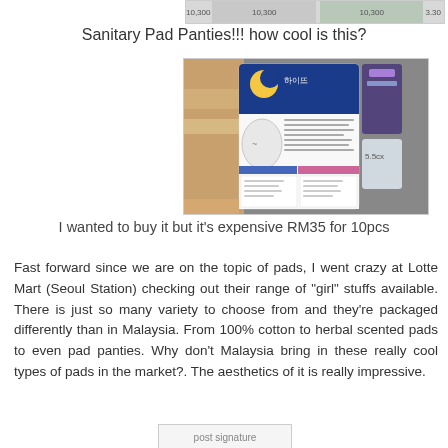[Figure (photo): Partial top strip showing price tags with '10,300' repeated and '3.30', cropped from a store shelf display]
Sanitary Pad Panties!!! how cool is this?
[Figure (photo): Photo of a Korean sanitary pad panties package (하이뜨 brand) showing the back of the packaging with Korean text, diagrams, and product information, taken in a store aisle]
I wanted to buy it but it's expensive RM35 for 10pcs
Fast forward since we are on the topic of pads, I went crazy at Lotte Mart (Seoul Station) checking out their range of "girl" stuffs available. There is just so many variety to choose from and they're packaged differently than in Malaysia. From 100% cotton to herbal scented pads to even pad panties. Why don't Malaysia bring in these really cool types of pads in the market?. The aesthetics of it is really impressive.
[Figure (photo): Post signature image, partially visible at bottom of page]